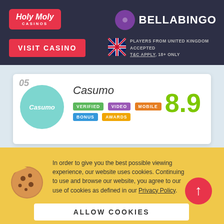[Figure (logo): Holy Moly Casinos logo in red/pink rounded rectangle with italic text]
[Figure (logo): BellaBingo logo with purple circle and bold white text BELLABINGO]
VISIT CASINO
[Figure (illustration): UK flag circle icon]
PLAYERS FROM UNITED KINGDOM ACCEPTED
T&C APPLY, 18+ ONLY
05
[Figure (logo): Casumo casino logo in teal circle with italic Casumo text]
Casumo
VERIFIED   VIDEO   MOBILE   BONUS   AWARDS
8.9
In order to give you the best possible viewing experience, our website uses cookies. Continuing to use and browse our website, you agree to our use of cookies as defined in our Privacy Policy.
ALLOW COOKIES